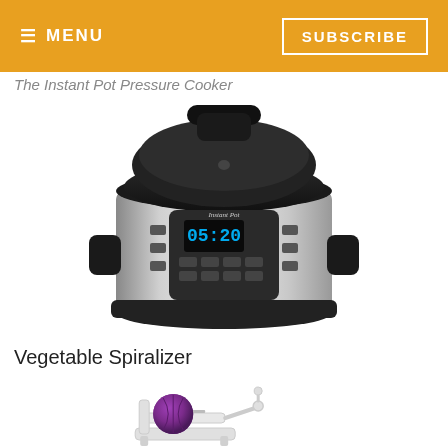≡ MENU   SUBSCRIBE
The Instant Pot Pressure Cooker
[Figure (photo): An Instant Pot electric pressure cooker with stainless steel body and black lid, displaying 05:20 on the control panel.]
Vegetable Spiralizer
[Figure (photo): A white hand-cranked vegetable spiralizer with a purple cabbage head mounted on it.]